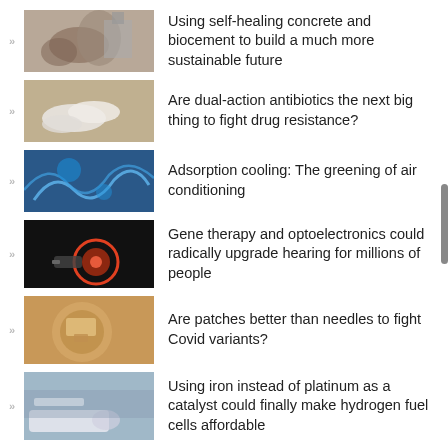Using self-healing concrete and biocement to build a much more sustainable future
Are dual-action antibiotics the next big thing to fight drug resistance?
Adsorption cooling: The greening of air conditioning
Gene therapy and optoelectronics could radically upgrade hearing for millions of people
Are patches better than needles to fight Covid variants?
Using iron instead of platinum as a catalyst could finally make hydrogen fuel cells affordable
A surprising new non-opioid pain killer with fewer side effects